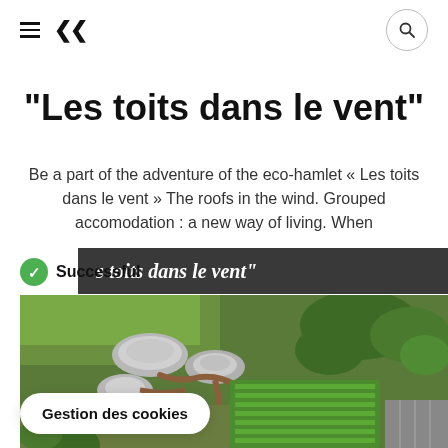≡  «  [search icon]
"Les toits dans le vent"
Be a part of the adventure of the eco-hamlet « Les toits dans le vent » The roofs in the wind. Grouped accomodation : a new way of living. When
Successful
s toits dans le vent"
[Figure (photo): Aerial drone photograph of eco-hamlet Les toits dans le vent showing circular roofed structures surrounded by green trees and a large vegetable garden]
Gestion des cookies